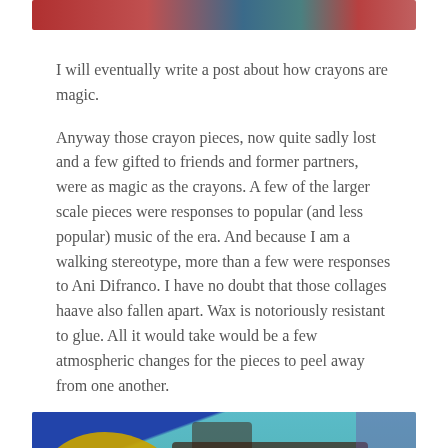[Figure (photo): Partial view of colorful artwork/crayon piece at the top of the page, showing red and teal/blue colors]
I will eventually write a post about how crayons are magic.
Anyway those crayon pieces, now quite sadly lost and a few gifted to friends and former partners, were as magic as the crayons. A few of the larger scale pieces were responses to popular (and less popular) music of the era. And because I am a walking stereotype, more than a few were responses to Ani Difranco. I have no doubt that those collages haave also fallen apart. Wax is notoriously resistant to glue. All it would take would be a few atmospheric changes for the pieces to peel away from one another.
[Figure (photo): Photo of colorful collage artwork with yellow/gold lettering, blue shapes, teal background, and dark grid-like elements]